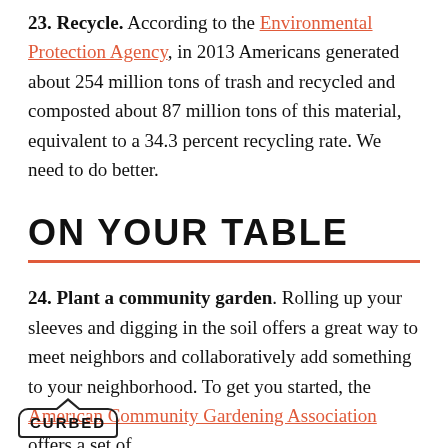23. Recycle. According to the Environmental Protection Agency, in 2013 Americans generated about 254 million tons of trash and recycled and composted about 87 million tons of this material, equivalent to a 34.3 percent recycling rate. We need to do better.
ON YOUR TABLE
24. Plant a community garden. Rolling up your sleeves and digging in the soil offers a great way to meet neighbors and collaboratively add something to your neighborhood. To get you started, the American Community Gardening Association offers a set of
CURBED